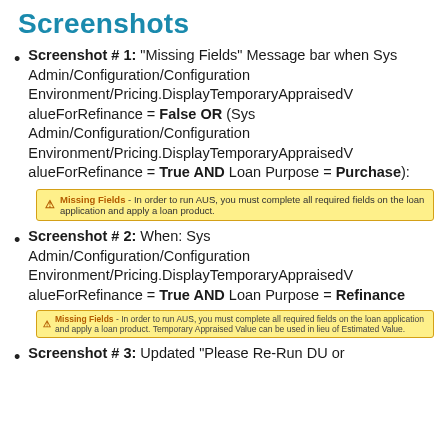Screenshots
Screenshot # 1: "Missing Fields" Message bar when Sys Admin/Configuration/Configuration Environment/Pricing.DisplayTemporaryAppraisedValueForRefinance = False OR (Sys Admin/Configuration/Configuration Environment/Pricing.DisplayTemporaryAppraisedValueForRefinance = True AND Loan Purpose = Purchase):
[Figure (screenshot): Missing Fields warning bar: 'Missing Fields - In order to run AUS, you must complete all required fields on the loan application and apply a loan product.']
Screenshot # 2: When: Sys Admin/Configuration/Configuration Environment/Pricing.DisplayTemporaryAppraisedValueForRefinance = True AND Loan Purpose = Refinance
[Figure (screenshot): Missing Fields warning bar with additional text about Temporary Appraised Value.]
Screenshot # 3: Updated "Please Re-Run DU or